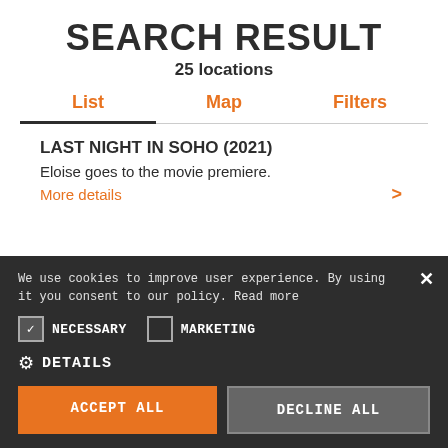SEARCH RESULT
25 locations
List   Map   Filters
LAST NIGHT IN SOHO (2021)
Eloise goes to the movie premiere.
More details >
We use cookies to improve user experience. By using it you consent to our policy. Read more
NECESSARY   MARKETING
DETAILS
ACCEPT ALL   DECLINE ALL